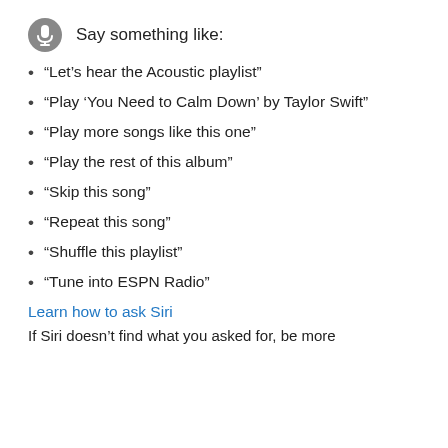Say something like:
“Let’s hear the Acoustic playlist”
“Play ‘You Need to Calm Down’ by Taylor Swift”
“Play more songs like this one”
“Play the rest of this album”
“Skip this song”
“Repeat this song”
“Shuffle this playlist”
“Tune into ESPN Radio”
Learn how to ask Siri
If Siri doesn’t find what you asked for, be more